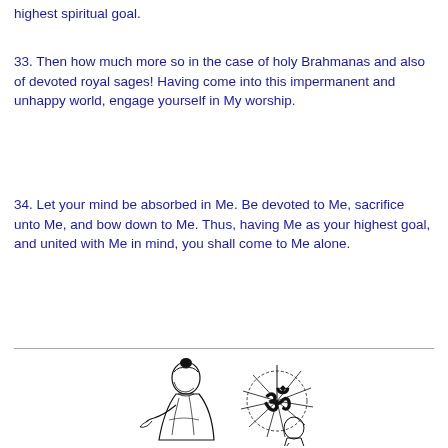highest spiritual goal.
33. Then how much more so in the case of holy Brahmanas and also of devoted royal sages! Having come into this impermanent and unhappy world, engage yourself in My worship.
34. Let your mind be absorbed in Me. Be devoted to Me, sacrifice unto Me, and bow down to Me. Thus, having Me as your highest goal, and united with Me in mind, you shall come to Me alone.
[Figure (illustration): Black and white illustration of a figure (Krishna-like deity) in profile bowing or praying, with an Om symbol radiating light rays to the right, and a partial figure at bottom right.]